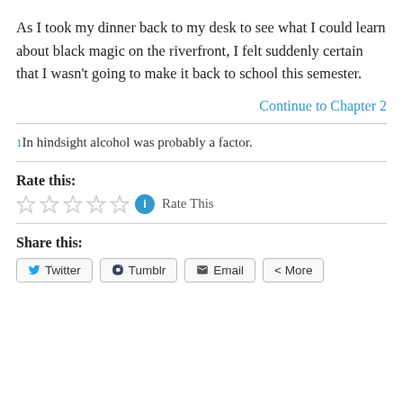As I took my dinner back to my desk to see what I could learn about black magic on the riverfront, I felt suddenly certain that I wasn’t going to make it back to school this semester.
Continue to Chapter 2
1In hindsight alcohol was probably a factor.
Rate this:
[Figure (other): Five empty star rating icons followed by a blue info circle icon and 'Rate This' text]
Share this:
Twitter  Tumblr  Email  More